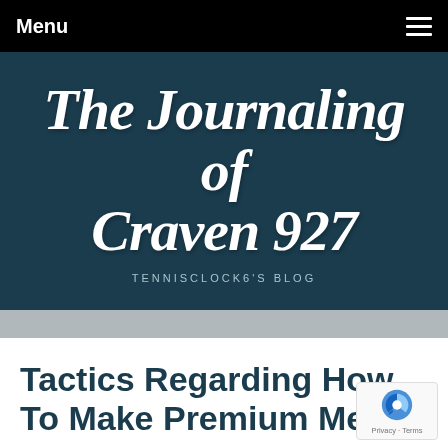Menu
The Journaling of Craven 927
TENNISCLOCK6'S BLOG
Tactics Regarding How To Make Premium Meals
April 15, 2020